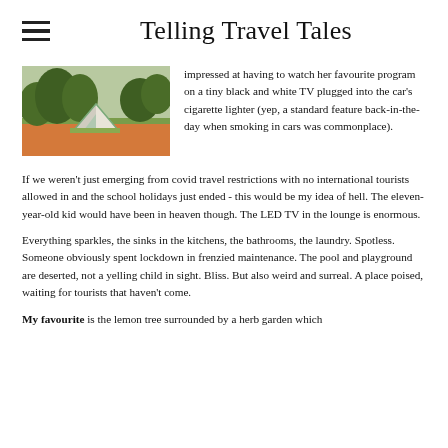Telling Travel Tales
[Figure (photo): A tent pitched in a field of orange wildflowers with trees in the background]
impressed at having to watch her favourite program on a tiny black and white TV plugged into the car's cigarette lighter (yep, a standard feature back-in-the-day when smoking in cars was commonplace).
If we weren't just emerging from covid travel restrictions with no international tourists allowed in and the school holidays just ended - this would be my idea of hell. The eleven-year-old kid would have been in heaven though. The LED TV in the lounge is enormous.
Everything sparkles, the sinks in the kitchens, the bathrooms, the laundry. Spotless. Someone obviously spent lockdown in frenzied maintenance. The pool and playground are deserted, not a yelling child in sight. Bliss. But also weird and surreal. A place poised, waiting for tourists that haven't come.
My favourite is the lemon tree surrounded by a herb garden which